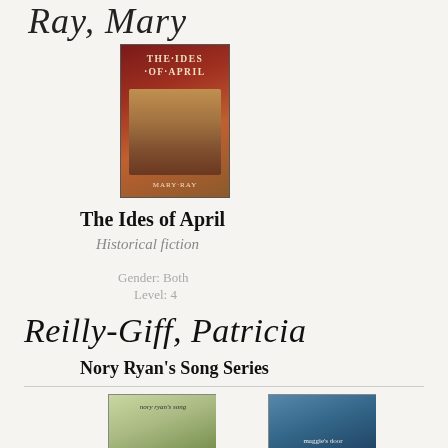Ray, Mary
[Figure (photo): Book cover of 'The Ides of April' by Mary Ray — red and brown tones with classical painting style figure]
The Ides of April
Historical fiction
Gender: Both
Level: 4
Reilly-Giff, Patricia
Nory Ryan's Song Series
[Figure (photo): Book cover of 'Nory Ryan's Song' — warm earthy tones with illustrated bird]
[Figure (photo): Book cover of 'Maggie's Door' — blue tones with ship rigging]